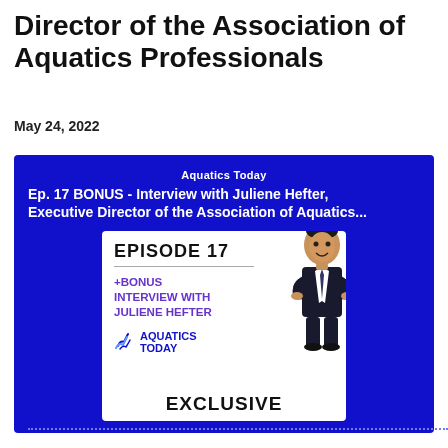Director of the Association of Aquatics Professionals
May 24, 2022
[Figure (other): Podcast episode card on blue background for Aquatics Today, Episode 17 BONUS - Interview with Juliene Hefter, Executive Director of the Association of Aquatics... The inner white card shows EPISODE 17, a divider, +BONUS INTERVIEW WITH JULIENE HEFTER in purple, Aquatics Today logo, EXCLUSIVE text, and a cartoon mascot figure.]